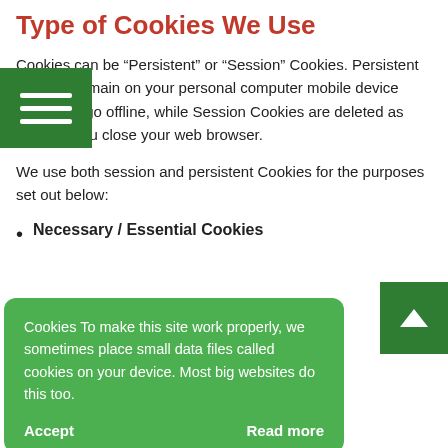Type of Cookies We Use
Cookies can be “Persistent” or “Session” Cookies. Persistent Cookies remain on your personal computer mobile device when You go offline, while Session Cookies are deleted as soon as You close your web browser.
We use both session and persistent Cookies for the purposes set out below:
Necessary / Essential Cookies
[Figure (screenshot): Green cookie consent popup overlay with text: 'Cookies To make this site work properly, we sometimes place small data files called cookies on your device. Most big websites do this too.' with Accept and Read more buttons.]
...ial to provide the Website and